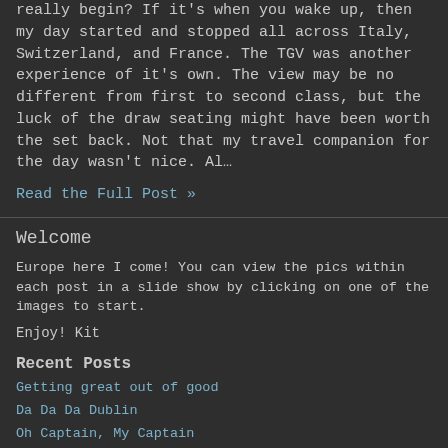really begin? If it's when you wake up, then my day started and stopped all across Italy, Switzerland, and France. The TGV was another experience of it's own. The view may be no different from first to second class, but the luck of the draw seating might have been worth the set back. Not that my travel companion for the day wasn't nice. Al…
Read the Full Post »
Welcome
Europe here I come!  You can view the pics within each post in a slide show by clicking on one of the images to start.
Enjoy! Kit
Recent Posts
Getting great out of good
Da Da Da Dublin
Oh Captain, My Captain
Hop Skip Jump
Stepping Out
Sketch out adventure
Jack and Jill cross The Pond